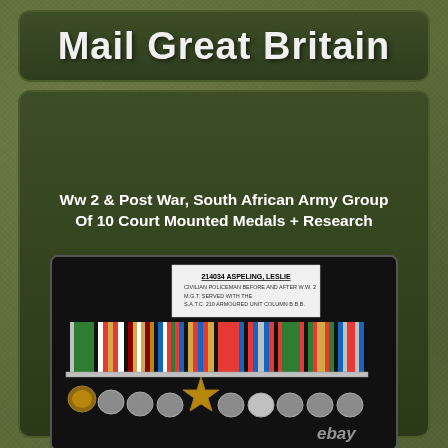Mail Great Britain
Ww 2 & Post War, South African Army Group Of 10 Court Mounted Medals + Research
[Figure (photo): Court mounted group of 10 military medals with colorful ribbons on dark background, with a label card reading '214034 ASPELING, LESLIE, CIVILIAN POLICEMAN BEFORE AND AFTER W.W.2, M.G.T. SERVED WITH THE S.A.T.C. 210 ARMOURED UNIT COLUMN B.B.B.' and ebay watermark]
[Figure (photo): Second view of the same court mounted group of 10 military medals showing ribbons and medals without the label card, with ebay watermark]